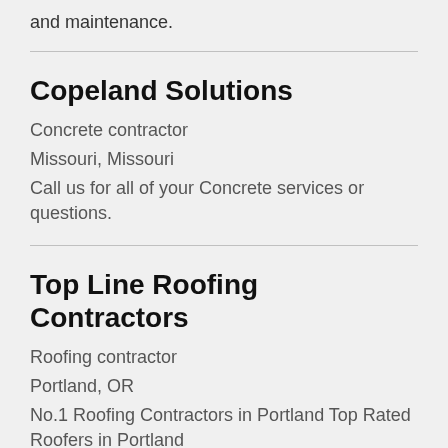and maintenance.
Copeland Solutions
Concrete contractor
Missouri, Missouri
Call us for all of your Concrete services or questions.
Top Line Roofing Contractors
Roofing contractor
Portland, OR
No.1 Roofing Contractors in Portland Top Rated Roofers in Portland